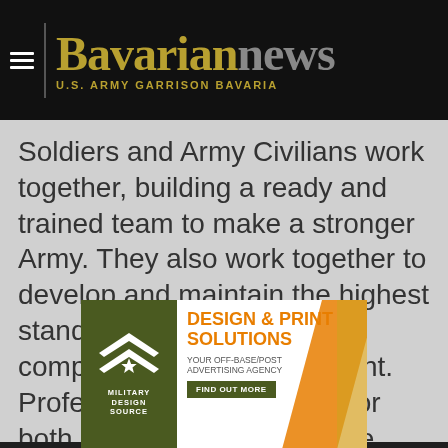Bavarian news — U.S. ARMY GARRISON BAVARIA
Soldiers and Army Civilians work together, building a ready and trained team to make a stronger Army. They also work together to develop and maintain the highest standards of character, competence and commitment. Professional development for both communities of practice builds mutual trust and understanding within the Army Profession.
We use cookies to personalize content and ads, to provide social media features and to analyze our traffic. We also share information about your use of our site with our social media, advertising and analytics partners who may combine it with other information...
[Figure (advertisement): Military Design Source ad: DESIGN & PRINT SOLUTIONS — YOUR OFF-BASE/POST ADVERTISING AGENCY — FIND OUT MORE]